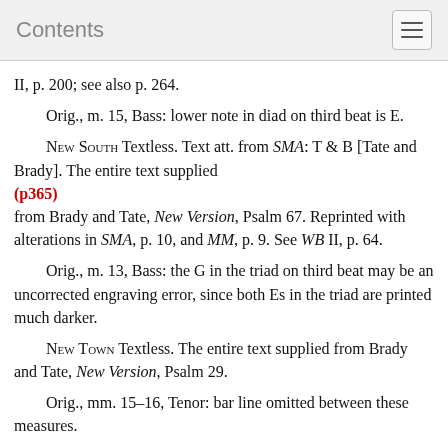Contents
II, p. 200; see also p. 264.
Orig., m. 15, Bass: lower note in diad on third beat is E.
New South Textless. Text att. from SMA: T & B [Tate and Brady]. The entire text supplied (p365) from Brady and Tate, New Version, Psalm 67. Reprinted with alterations in SMA, p. 10, and MM, p. 9. See WB II, p. 64.
Orig., m. 13, Bass: the G in the triad on third beat may be an uncorrected engraving error, since both Es in the triad are printed much darker.
New Town Textless. The entire text supplied from Brady and Tate, New Version, Psalm 29.
Orig., mm. 15–16, Tenor: bar line omitted between these measures.